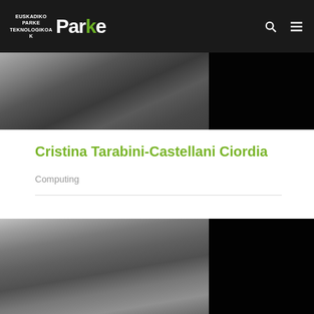EUSKADIKO PARKE TEKNOLOGIKOAK — Parke
[Figure (photo): Black and white photo of a woman (top portion, face tilted down) on left, black panel on right]
Cristina Tarabini-Castellani Ciordia
Computing
[Figure (photo): Black and white photo of a woman with dark hair looking forward, on left, black panel on right]